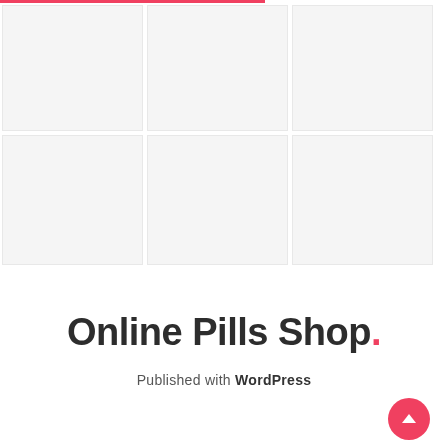[Figure (other): Six gray placeholder image boxes arranged in a 2-row by 3-column grid]
Online Pills Shop.
Published with WordPress
[Figure (other): Pink/red circular scroll-to-top button with upward arrow in bottom right corner]